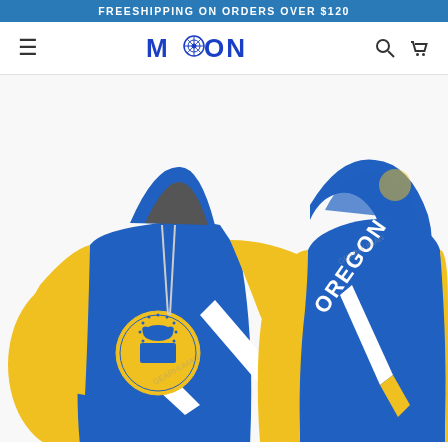FREESHIPPING ON ORDERS OVER $120
[Figure (logo): MOON brand logo with flower/mandala icon in blue text]
[Figure (photo): Oregon state hoodie shown from front and back views. Blue and yellow hoodie with Oregon state seal on chest, white chevron design, and OREGON text on back. Watermarked product photo.]